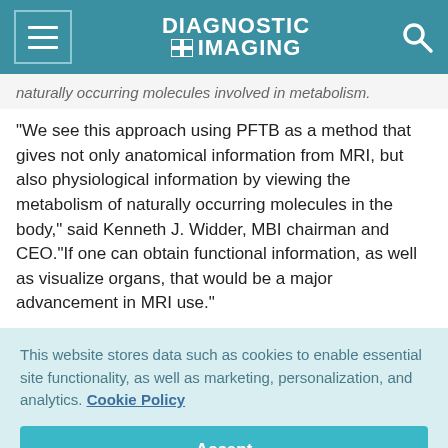DIAGNOSTIC IMAGING
naturally occurring molecules involved in metabolism.
"We see this approach using PFTB as a method that gives not only anatomical information from MRI, but also physiological information by viewing the metabolism of naturally occurring molecules in the body," said Kenneth J. Widder, MBI chairman and CEO. "If one can obtain functional information, as well as visualize organs, that would be a major advancement in MRI use."
This website stores data such as cookies to enable essential site functionality, as well as marketing, personalization, and analytics. Cookie Policy
Accept
Deny